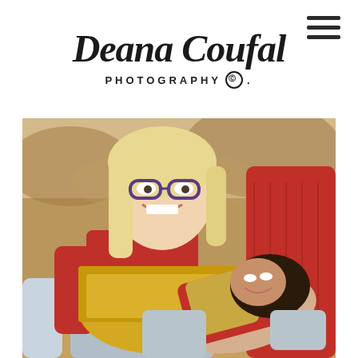[Figure (logo): Deana Coufal Photography logo with script text and copyright symbol]
[Figure (photo): Two children playing outdoors; a blonde girl with glasses wearing a red shirt and gold sequin skirt hugging a dark-haired girl wearing a red sweater, set against a natural outdoor background]